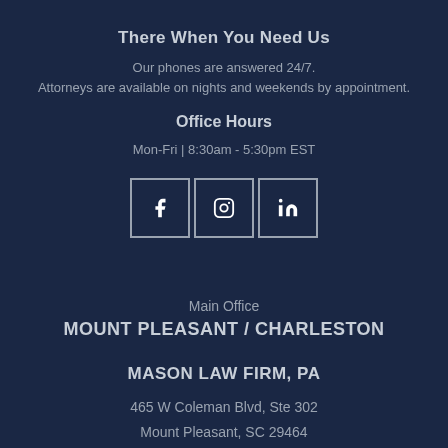There When You Need Us
Our phones are answered 24/7.
Attorneys are available on nights and weekends by appointment.
Office Hours
Mon-Fri | 8:30am - 5:30pm EST
[Figure (illustration): Three social media icon boxes: Facebook (f), Instagram (camera/circle), LinkedIn (in)]
Main Office
MOUNT PLEASANT / CHARLESTON
MASON LAW FIRM, PA
465 W Coleman Blvd, Ste 302
Mount Pleasant, SC 29464
Tel: (843) 884-1444
Fax: (843) 884-3595